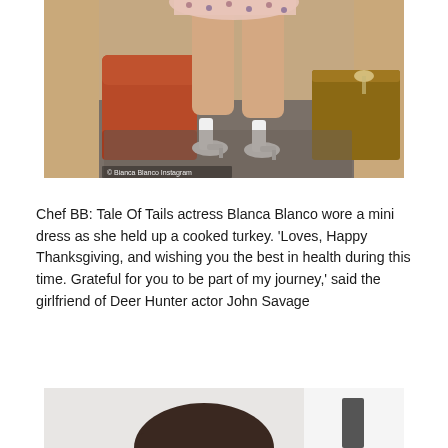[Figure (photo): Lower body of a woman in a floral mini dress and white heels, standing near an orange/red armchair and a wooden table. Photo credit: Bianca Blanco Instagram]
Chef BB: Tale Of Tails actress Blanca Blanco wore a mini dress as she held up a cooked turkey. 'Loves, Happy Thanksgiving, and wishing you the best in health during this time. Grateful for you to be part of my journey,' said the girlfriend of Deer Hunter actor John Savage
[Figure (photo): Partial view of a person with dark hair, bottom of image]